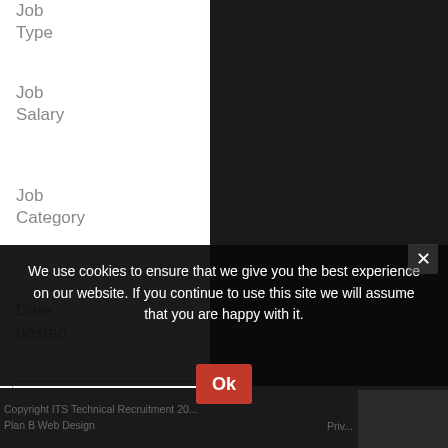Job Type
Job Salary
Job Category
Date posted
Keyword(s)
Location
Auto
Search
We use cookies to ensure that we give you the best experience on our website. If you continue to use this site we will assume that you are happy with it.
Copyright ITS Technical Recruitment 20... | Privacy Policy | Plan B Web Design